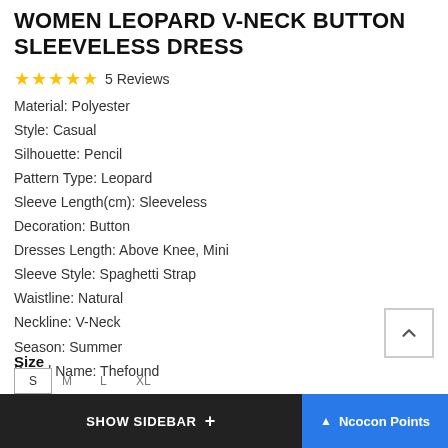WOMEN LEOPARD V-NECK BUTTON SLEEVELESS DRESS
★★★★★ 5 Reviews
Material: Polyester
Style: Casual
Silhouette: Pencil
Pattern Type: Leopard
Sleeve Length(cm): Sleeveless
Decoration: Button
Dresses Length: Above Knee, Mini
Sleeve Style: Spaghetti Strap
Waistline: Natural
Neckline: V-Neck
Season: Summer
Brand Name: Thefound
$42.00  $17.63
Size
SHOW SIDEBAR +   Ncocon Points